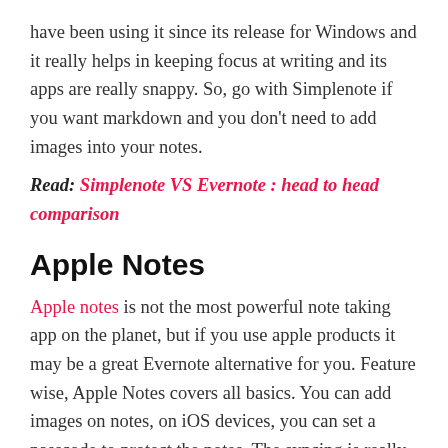have been using it since its release for Windows and it really helps in keeping focus at writing and its apps are really snappy. So, go with Simplenote if you want markdown and you don't need to add images into your notes.
Read: Simplenote VS Evernote : head to head comparison
Apple Notes
Apple notes is not the most powerful note taking app on the planet, but if you use apple products it may be a great Evernote alternative for you. Feature wise, Apple Notes covers all basics. You can add images on notes, on iOS devices, you can set a passcode to protect the notes. The syncing is really good. In my past experiences, I haven't had any syncing problem with the app.
Apple notes is completely free and all your notes are saved